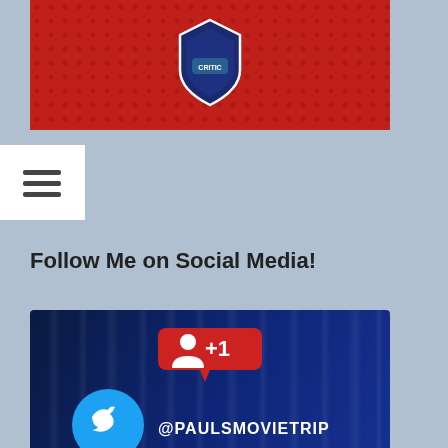[Figure (illustration): Top red banner with movie critic logo/badge on red dotted background]
[Figure (illustration): Hamburger menu icon (three horizontal lines) in white box]
Follow Me on Social Media!
[Figure (infographic): Social media follow card on dark blue curtain background. Shows notification badge (+1 person icon), then 4 social media rows: Twitter @PAULSMOVIETRIP, Instagram @PAULSMOVIETRIP, Facebook @PAUL'S TRIP TO THE MOVIES, YouTube @PAUL'S TRIP TO THE MOVIES]